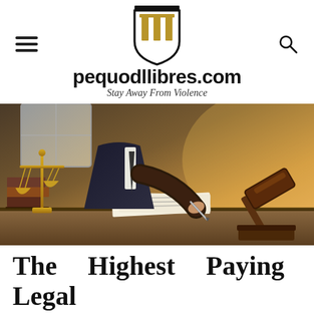pequodllibres.com — Stay Away From Violence
[Figure (photo): Lawyer at desk writing with pen, legal scales of justice in foreground left, judge gavel in foreground right, warm golden light, law books stacked in background]
The Highest Paying Legal Jobs